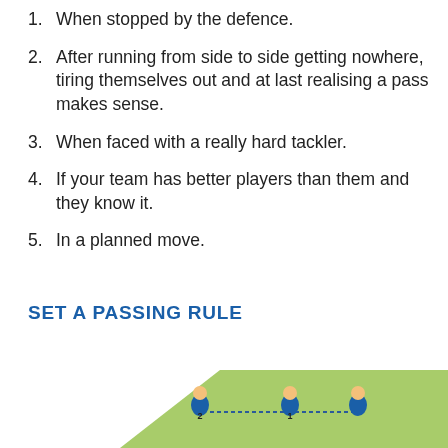1. When stopped by the defence.
2. After running from side to side getting nowhere, tiring themselves out and at last realising a pass makes sense.
3. When faced with a really hard tackler.
4. If your team has better players than them and they know it.
5. In a planned move.
SET A PASSING RULE
[Figure (infographic): Diagram showing a rugby passing play on a green field with numbered players (1 and 2) and dotted lines indicating movement.]